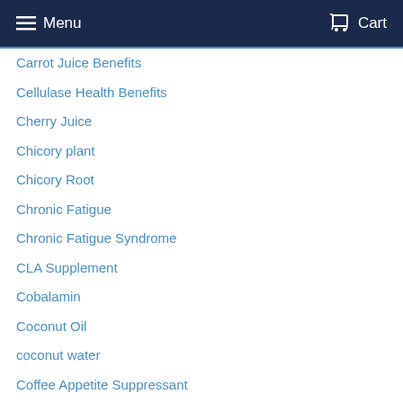Menu | Cart
Carrot Juice Benefits
Cellulase Health Benefits
Cherry Juice
Chicory plant
Chicory Root
Chronic Fatigue
Chronic Fatigue Syndrome
CLA Supplement
Cobalamin
Coconut Oil
coconut water
Coffee Appetite Suppressant
collagen
collagen side effects
Colloidal silver
Colostrum
complementary medicine